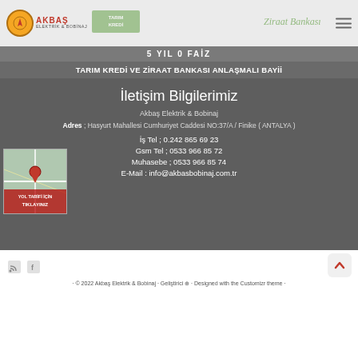[Figure (logo): Akbaş Elektrik & Bobinaj logo with Tarım Kredi and Ziraat Bankası logos in header bar]
5 YIL 0 FAİZ
TARIM KREDİ ve ZİRAAT BANKASI ANLAŞMALI BAYİİ
İletişim Bilgilerimiz
Akbaş Elektrik & Bobinaj
Adres ; Hasyurt Mahallesi Cumhuriyet Caddesi NO:37/A / Finike  ( ANTALYA )
İş Tel ; 0.242 865 69 23
Gsm Tel ; 0533 966 85 72
Muhasebe ; 0533 966 85 74
E-Mail : info@akbasbobinaj.com.tr
[Figure (map): Map thumbnail with location pin and 'YOL TARİFİ İÇİN TIKLAYINIZ' text overlay]
· © 2022 Akbaş Elektrik & Bobinaj · Geliştirici  · Designed with the Customizr theme ·